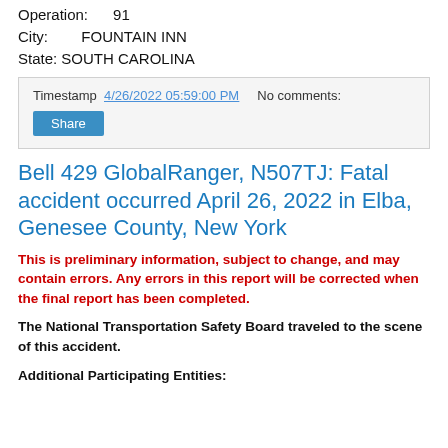Operation:    91
City:      FOUNTAIN INN
State: SOUTH CAROLINA
Timestamp 4/26/2022 05:59:00 PM    No comments:
Share
Bell 429 GlobalRanger, N507TJ: Fatal accident occurred April 26, 2022 in Elba, Genesee County, New York
This is preliminary information, subject to change, and may contain errors. Any errors in this report will be corrected when the final report has been completed.
The National Transportation Safety Board traveled to the scene of this accident.
Additional Participating Entities: